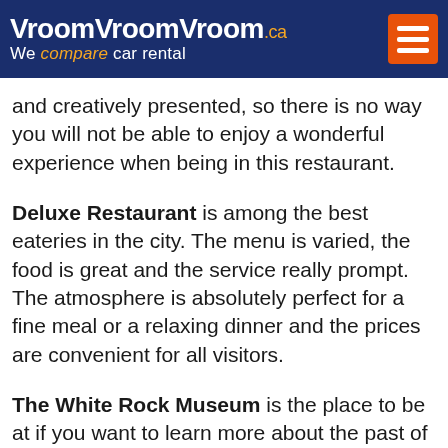VroomVroomVroom.ca We compare car rental
and creatively presented, so there is no way you will not be able to enjoy a wonderful experience when being in this restaurant.
Deluxe Restaurant is among the best eateries in the city. The menu is varied, the food is great and the service really prompt. The atmosphere is absolutely perfect for a fine meal or a relaxing dinner and the prices are convenient for all visitors.
The White Rock Museum is the place to be at if you want to learn more about the past of this wonderful city. Natural and historical history and national heritage are found in this spot. White Rock Playhouse is a 176 seat theater located